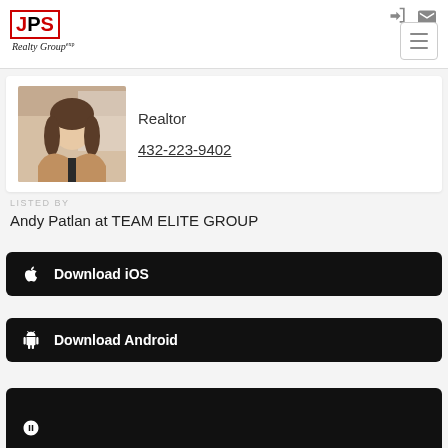[Figure (logo): JPS Realty Group eXp logo]
[Figure (photo): Realtor headshot photo - woman with long hair wearing beige blazer]
Realtor
432-223-9402
LISTED BY
Andy Patlan at TEAM ELITE GROUP
Download iOS
Download Android